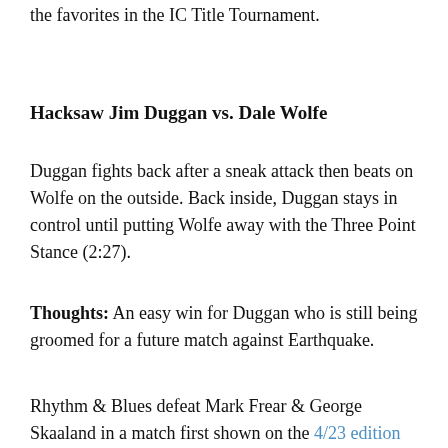the favorites in the IC Title Tournament.
Hacksaw Jim Duggan vs. Dale Wolfe
Duggan fights back after a sneak attack then beats on Wolfe on the outside. Back inside, Duggan stays in control until putting Wolfe away with the Three Point Stance (2:27).
Thoughts: An easy win for Duggan who is still being groomed for a future match against Earthquake.
Rhythm & Blues defeat Mark Frear & George Skaaland in a match first shown on the 4/23 edition of “Prime